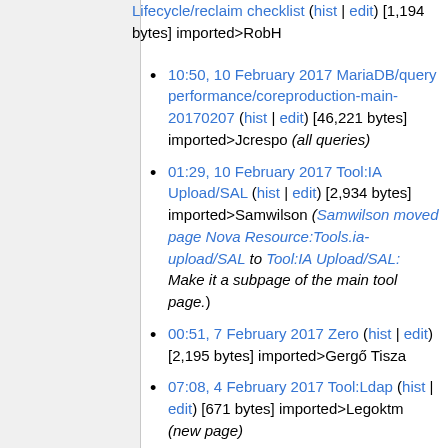Lifecycle/reclaim checklist (hist | edit) [1,194 bytes] imported>RobH
10:50, 10 February 2017 MariaDB/query performance/coreproduction-main-20170207 (hist | edit) [46,221 bytes] imported>Jcrespo (all queries)
01:29, 10 February 2017 Tool:IA Upload/SAL (hist | edit) [2,934 bytes] imported>Samwilson (Samwilson moved page Nova Resource:Tools.ia-upload/SAL to Tool:IA Upload/SAL: Make it a subpage of the main tool page.)
00:51, 7 February 2017 Zero (hist | edit) [2,195 bytes] imported>Gergő Tisza
07:08, 4 February 2017 Tool:Ldap (hist | edit) [671 bytes] imported>Legoktm (new page)